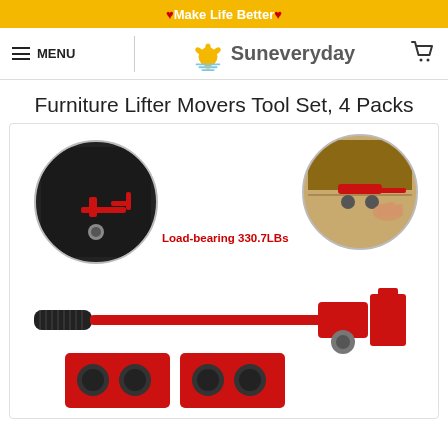♥Make Life Better♥
[Figure (screenshot): Suneveryday website navigation bar with hamburger menu, MENU text, Suneveryday logo with sun icon, and cart icon]
Furniture Lifter Movers Tool Set, 4 Packs
[Figure (photo): Product photo of red furniture lifter movers tool set showing two circular close-up images of the lifting mechanism and wheels, a red metal bar tool with black rubber grip handle and a roller/lifter attachment, and two red flat slider pads with black rubber circles. Text overlay reads 'Load-bearing 330.7LBs' in red.]